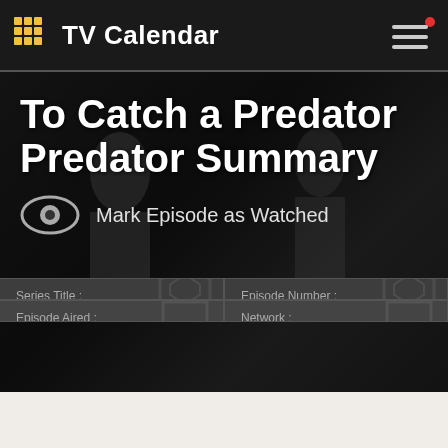TV Calendar
To Catch a Predator Predator Summary
Mark Episode as Watched
| Series Title : | Episode Number : |
| --- | --- |
| Elementary | Season 5 Episode 5 |
| Episode Aired : | Network : |
| 6th November 2016 | CBS |